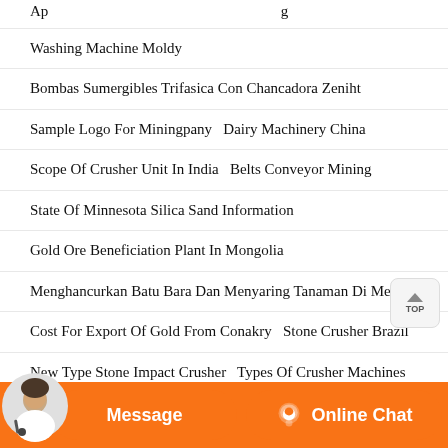Washing Machine Moldy
Bombas Sumergibles Trifasica Con Chancadora Zeniht
Sample Logo For Miningpany   Dairy Machinery China
Scope Of Crusher Unit In India   Belts Conveyor Mining
State Of Minnesota Silica Sand Information
Gold Ore Beneficiation Plant In Mongolia
Menghancurkan Batu Bara Dan Menyaring Tanaman Di Mesir
Cost For Export Of Gold From Conakry   Stone Crusher Brazil
New Type Stone Impact Crusher   Types Of Crusher Machines
Chantete Mining Kitwe In Pakistan
Jaw Crusher Equipment Csuym Rock
Used Mobile Crushers For Sale By Owner